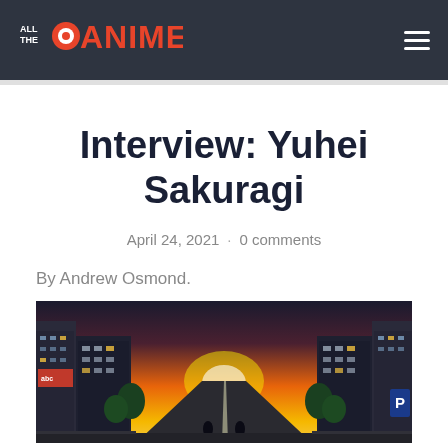ALL THE ANIME
Interview: Yuhei Sakuragi
April 24, 2021 · 0 comments
By Andrew Osmond.
[Figure (illustration): Anime-style city street scene with orange sunset sky, tall buildings lining a road perspective, small figures in the foreground.]